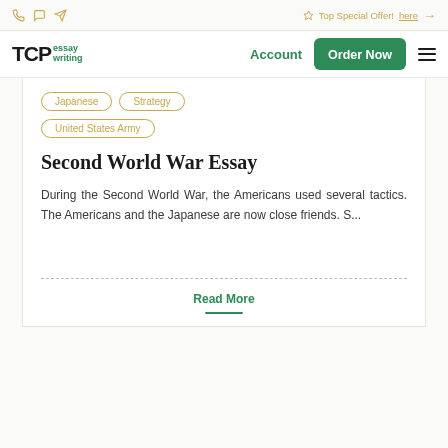Top Special Offer! here →
TCP essay writing | Account | Order Now
Japanese
Strategy
United States Army
Second World War Essay
During the Second World War, the Americans used several tactics. The Americans and the Japanese are now close friends. S...
Read More